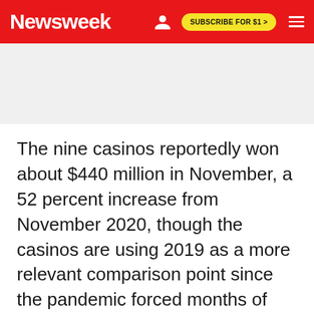Newsweek | SUBSCRIBE FOR $1 >
The nine casinos reportedly won about $440 million in November, a 52 percent increase from November 2020, though the casinos are using 2019 as a more relevant comparison point since the pandemic forced months of closures and capacity limits when they were allowed to reopen.